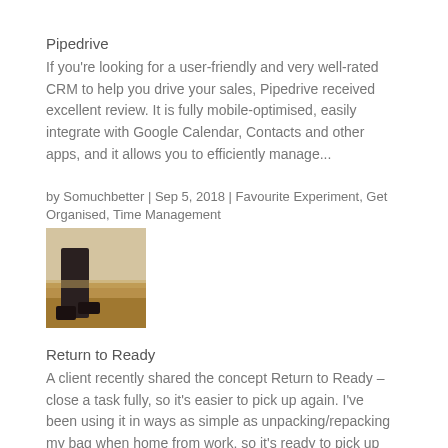Pipedrive
If you're looking for a user-friendly and very well-rated CRM to help you drive your sales, Pipedrive received excellent review. It is fully mobile-optimised, easily integrate with Google Calendar, Contacts and other apps, and it allows you to efficiently manage...
by Somuchbetter | Sep 5, 2018 | Favourite Experiment, Get Organised, Time Management
[Figure (photo): A photo of a person's feet/legs near a bag on a wooden floor, thumbnail image]
Return to Ready
A client recently shared the concept Return to Ready – close a task fully, so it's easier to pick up again. I've been using it in ways as simple as unpacking/repacking my bag when home from work, so it's ready to pick up quickly in the morning,